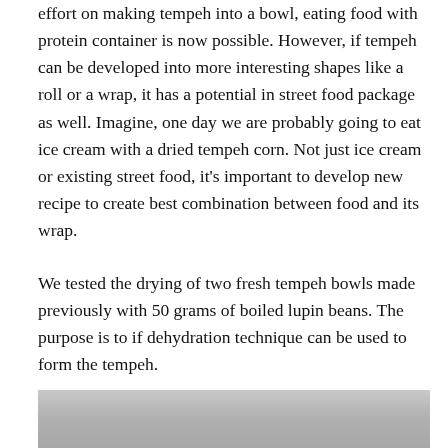effort on making tempeh into a bowl, eating food with protein container is now possible. However, if tempeh can be developed into more interesting shapes like a roll or a wrap, it has a potential in street food package as well. Imagine, one day we are probably going to eat ice cream with a dried tempeh corn. Not just ice cream or existing street food, it’s important to develop new recipe to create best combination between food and its wrap.
We tested the drying of two fresh tempeh bowls made previously with 50 grams of boiled lupin beans. The purpose is to if dehydration technique can be used to form the tempeh.
[Figure (photo): Partial view of a photograph, showing a gray/silver surface, likely a tray or container used in the tempeh drying experiment.]